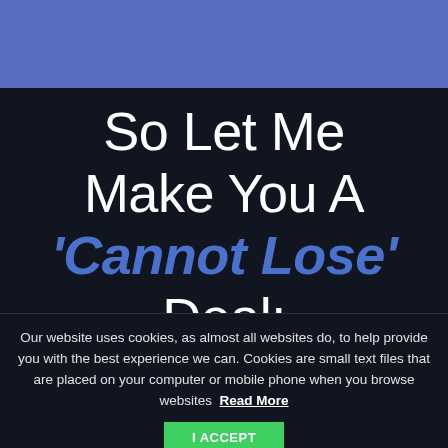[Figure (other): Blue banner header background strip at top of page]
So Let Me Make You A 'Cannot Lose' Deal:
Our website uses cookies, as almost all websites do, to help provide you with the best experience we can. Cookies are small text files that are placed on your computer or mobile phone when you browse websites Read More
I ACCEPT